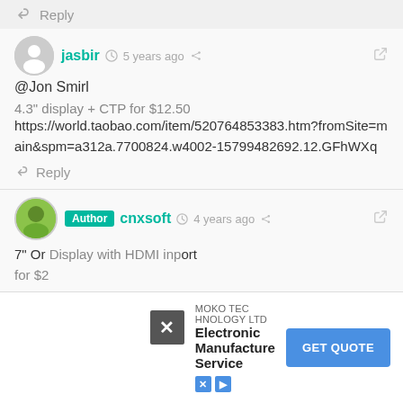Reply
jasbir · 5 years ago
@Jon Smirl
4.3" display + CTP for $12.50
https://world.taobao.com/item/520764853383.htm?fromSite=main&spm=a312a.7700824.w4002-15799482692.12.GFhWXq
Reply
Author · cnxsoft · 4 years ago
7" Or... Display with HDMI input, audio output for $2... https... LCD-Screen-for-Orange-Pi-HS-chip-
[Figure (other): Ad overlay: MOKO TECHNOLOGY LTD Electronic Manufacture Service GET QUOTE button]